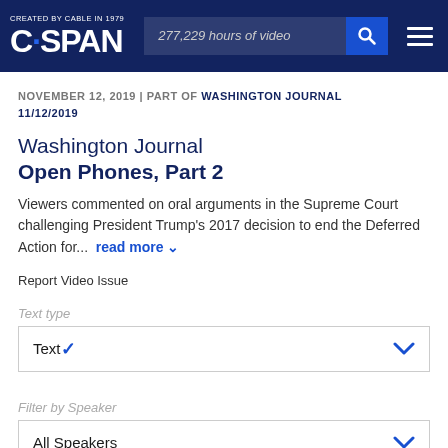CREATED BY CABLE IN 1979 C·SPAN | 277,229 hours of video
NOVEMBER 12, 2019 | PART OF WASHINGTON JOURNAL 11/12/2019
Washington Journal Open Phones, Part 2
Viewers commented on oral arguments in the Supreme Court challenging President Trump's 2017 decision to end the Deferred Action for... read more
Report Video Issue
Text type
Text
Filter by Speaker
All Speakers